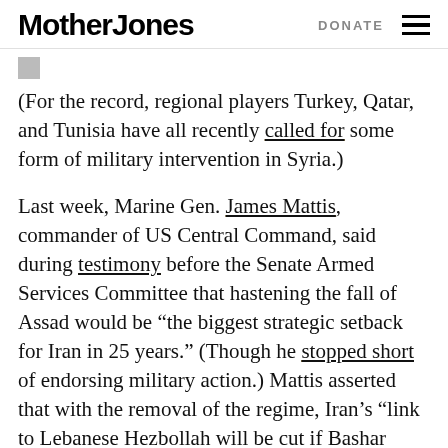Mother Jones | DONATE
(For the record, regional players Turkey, Qatar, and Tunisia have all recently called for some form of military intervention in Syria.)
Last week, Marine Gen. James Mattis, commander of US Central Command, said during testimony before the Senate Armed Services Committee that hastening the fall of Assad would be “the biggest strategic setback for Iran in 25 years.” (Though he stopped short of endorsing military action.) Mattis asserted that with the removal of the regime, Iran’s “link to Lebanese Hezbollah will be cut if Bashar Assad goes,” and that “providing arms” to democratic opposition forces “is perhaps an option.”